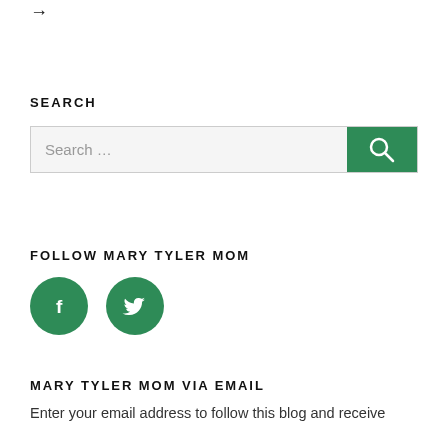→
SEARCH
[Figure (other): Search input box with green search button and magnifying glass icon]
FOLLOW MARY TYLER MOM
[Figure (other): Two green circular social media icons: Facebook (f) and Twitter (bird)]
MARY TYLER MOM VIA EMAIL
Enter your email address to follow this blog and receive